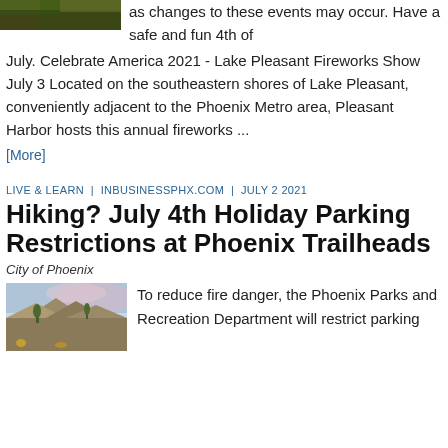[Figure (photo): Partial outdoor/nature photo at the top left, cropped]
as changes to these events may occur. Have a safe and fun 4th of July. Celebrate America 2021 - Lake Pleasant Fireworks Show July 3 Located on the southeastern shores of Lake Pleasant, conveniently adjacent to the Phoenix Metro area, Pleasant Harbor hosts this annual fireworks ...
[More]
LIVE & LEARN  |  INBUSINESSPHX.COM  |  JULY 2 2021
Hiking? July 4th Holiday Parking Restrictions at Phoenix Trailheads
City of Phoenix
[Figure (photo): Photo of rocky desert mountain trailhead with cactus and sky, Phoenix area]
To reduce fire danger, the Phoenix Parks and Recreation Department will restrict parking